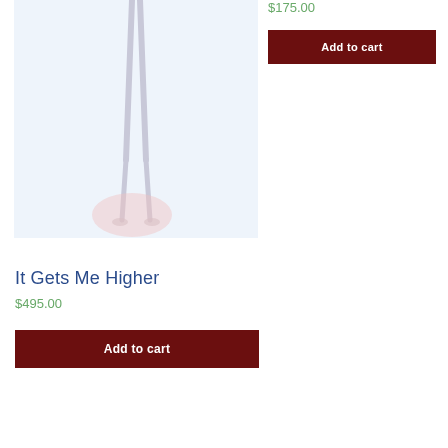[Figure (photo): Product image showing a figure/mannequin with legs visible, partially cropped. Light blue/white background with a pink blush element at the bottom.]
$175.00
Add to cart
It Gets Me Higher
$495.00
Add to cart